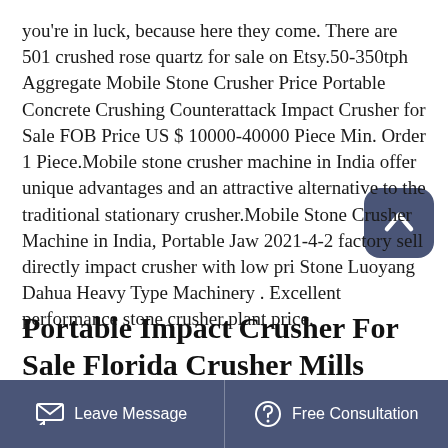you're in luck, because here they come. There are 501 crushed rose quartz for sale on Etsy.50-350tph Aggregate Mobile Stone Crusher Price Portable Concrete Crushing Counterattack Impact Crusher for Sale FOB Price US $ 10000-40000 Piece Min. Order 1 Piece.Mobile stone crusher machine in India offer unique advantages and an attractive alternative to the traditional stationary crusher.Mobile Stone Crusher Machine in India, Portable Jaw 2021-4-2 factory sell directly impact crusher with low price Stone Luoyang Dahua Heavy Type Machinery . Excellent performance stone crusher plant price.
Portable Impact Crusher For Sale Florida Crusher Mills
Leave Message   Free Consultation